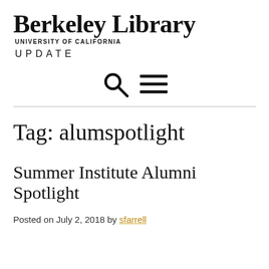Berkeley Library UNIVERSITY OF CALIFORNIA UPDATE
[Figure (other): Search icon (magnifying glass) and hamburger menu icon]
Tag: alumspotlight
Summer Institute Alumni Spotlight
Posted on July 2, 2018 by sfarrell